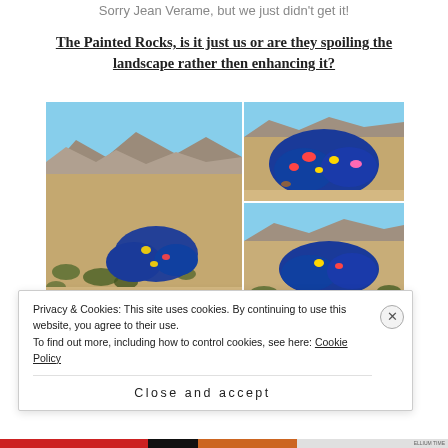Sorry Jean Verame, but we just didn't get it!
The Painted Rocks, is it just us or are they spoiling the landscape rather then enhancing it?
[Figure (photo): Three photos of painted rocks in a desert landscape. Large left photo shows a wide desert scene with mountains in background and blue-painted rocks. Top-right photo shows closer view of the blue and multicolor painted rocks. Bottom-right photo shows another angle of the painted rocks.]
Privacy & Cookies: This site uses cookies. By continuing to use this website, you agree to their use.
To find out more, including how to control cookies, see here: Cookie Policy
Close and accept